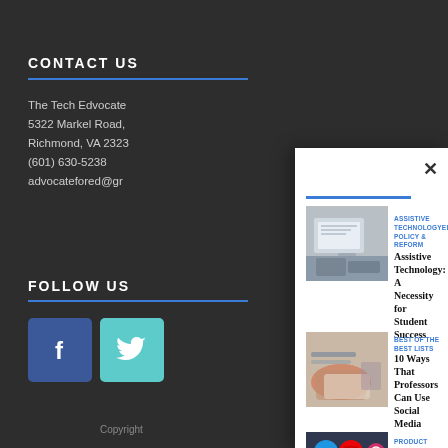CONTACT US
The Tech Edvocate
5322 Markel Road,
Richmond, VA 2323
(601) 630-5238
advocatefored@gr
FOLLOW US
[Figure (other): Facebook icon - blue square with white f]
[Figure (other): Twitter icon - teal square with white bird]
Copyright
[Figure (other): Close X button for overlay panel]
[Figure (photo): Person working on laptop - article thumbnail]
ASSISTIVE TECHNOLOGYEDTECH POLICY & REFORM
Assistive Technology: A Necessity for Student Success
[Figure (photo): Person holding laptop on lap - article thumbnail]
BEST OF THE BEST LISTS
10 Ways That Professors Can Use Social Media
[Figure (photo): Social media app icons on smartphone - article thumbnail]
PRODUCT REVIEWSWRITING
Product Review of LetterSchool